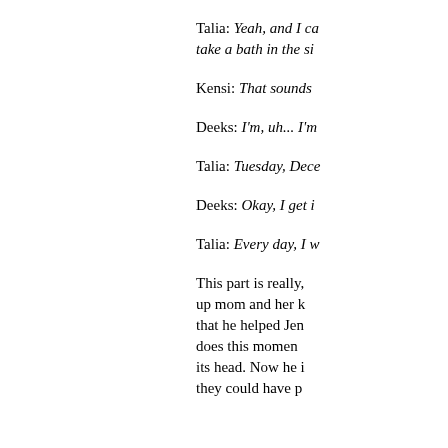Talia: Yeah, and I ca take a bath in the si
Kensi: That sounds
Deeks: I'm, uh... I'm
Talia: Tuesday, Dece
Deeks: Okay, I get i
Talia: Every day, I w
This part is really, up mom and her k that he helped Jen does this momen its head. Now he i they could have p